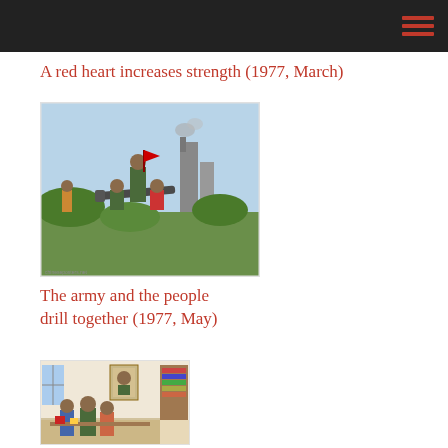A red heart increases strength (1977, March)
[Figure (illustration): Chinese propaganda poster showing soldiers and civilians operating military equipment outdoors with industrial backdrop]
The army and the people drill together (1977, May)
[Figure (illustration): Chinese propaganda poster showing soldiers and civilians indoors with portrait of Mao on wall]